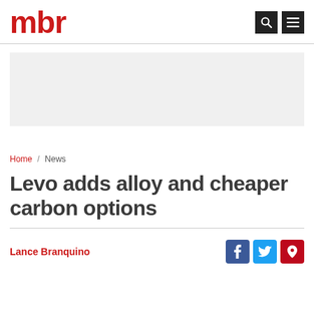mbr
[Figure (other): Grey advertisement placeholder rectangle]
Home / News
Levo adds alloy and cheaper carbon options
Lance Branquino